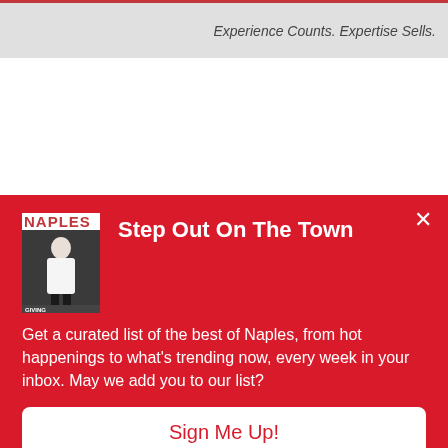[Figure (screenshot): Top banner advertisement with light gray background, red top border, and italic text 'Experience Counts. Expertise Sells.']
Experience Counts. Expertise Sells.
Step Out On The Town
Get a curated list of the best of Naples, from hot happenings to what's trending now, every week in your inbox. May we add you to our list?
Sign Me Up!